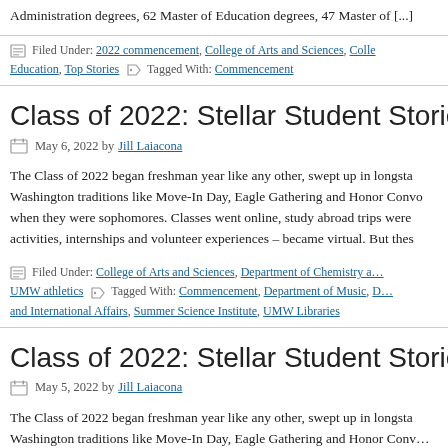Administration degrees, 62 Master of Education degrees, 47 Master of […]
Filed Under: 2022 commencement, College of Arts and Sciences, Colle… Education, Top Stories  Tagged With: Commencement
Class of 2022: Stellar Student Stories, Part 3 of 3
May 6, 2022 by Jill Laiacona
The Class of 2022 began freshman year like any other, swept up in longsta… Washington traditions like Move-In Day, Eagle Gathering and Honor Convo… when they were sophomores. Classes went online, study abroad trips were… activities, internships and volunteer experiences – became virtual. But thes…
Filed Under: College of Arts and Sciences, Department of Chemistry a… UMW athletics  Tagged With: Commencement, Department of Music, D… and International Affairs, Summer Science Institute, UMW Libraries
Class of 2022: Stellar Student Stories, Part 2 of 3
May 5, 2022 by Jill Laiacona
The Class of 2022 began freshman year like any other, swept up in longsta… Washington traditions like Move-In Day, Eagle Gathering and Honor Conv…